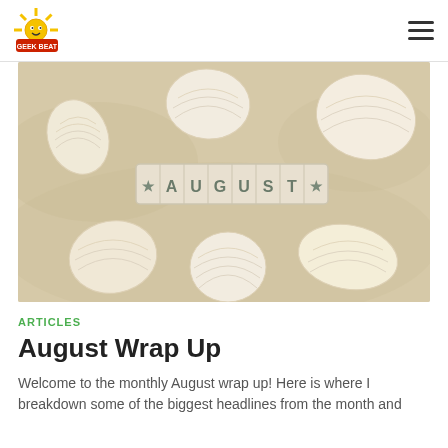[Logo: Geek Beat] [Hamburger menu icon]
[Figure (photo): Hero image: sandy beige background with white seashells arranged decoratively around a wooden tile strip spelling out ★AUGUST★ in block letters with star symbols on each end.]
ARTICLES
August Wrap Up
Welcome to the monthly August wrap up! Here is where I breakdown some of the biggest headlines from the month and